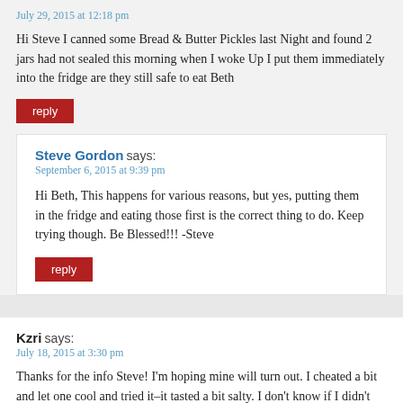July 29, 2015 at 12:18 pm
Hi Steve I canned some Bread & Butter Pickles last Night and found 2 jars had not sealed this morning when I woke Up I put them immediately into the fridge are they still safe to eat Beth
reply
Steve Gordon says:
September 6, 2015 at 9:39 pm
Hi Beth, This happens for various reasons, but yes, putting them in the fridge and eating those first is the correct thing to do. Keep trying though. Be Blessed!!! -Steve
reply
Kzri says:
July 18, 2015 at 3:30 pm
Thanks for the info Steve! I'm hoping mine will turn out. I cheated a bit and let one cool and tried it–it tasted a bit salty. I don't know if I didn't have enough cucumbers for the amount of salt recommended, it was 6 large regular cucumbers and it ended up